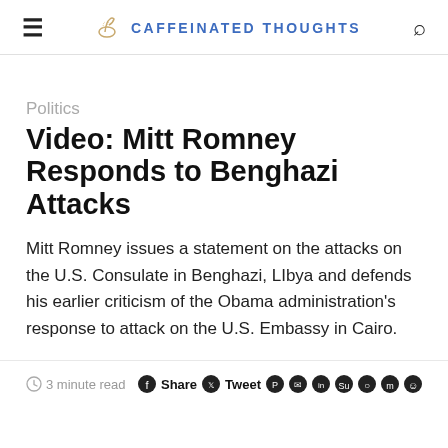CAFFEINATED THOUGHTS
Politics
Video: Mitt Romney Responds to Benghazi Attacks
Mitt Romney issues a statement on the attacks on the U.S. Consulate in Benghazi, LIbya and defends his earlier criticism of the Obama administration's response to attack on the U.S. Embassy in Cairo.
3 minute read  Share  Tweet